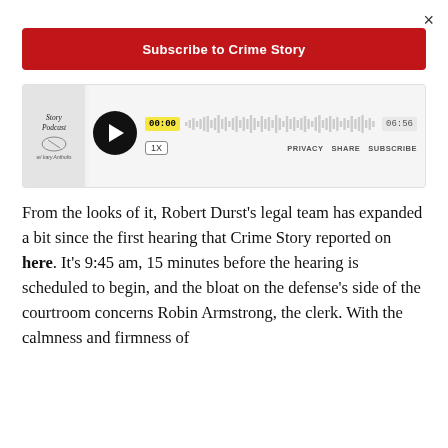×
Subscribe to Crime Story
[Figure (screenshot): Podcast player widget showing a play button, waveform, timestamp 00:00 and 06:56, speed control 1X, and PRIVACY SHARE SUBSCRIBE links. Includes a podcast thumbnail showing 'Story Podcast w/ kary Antholis'.]
From the looks of it, Robert Durst's legal team has expanded a bit since the first hearing that Crime Story reported on here. It's 9:45 am, 15 minutes before the hearing is scheduled to begin, and the bloat on the defense's side of the courtroom concerns Robin Armstrong, the clerk. With the calmness and firmness of